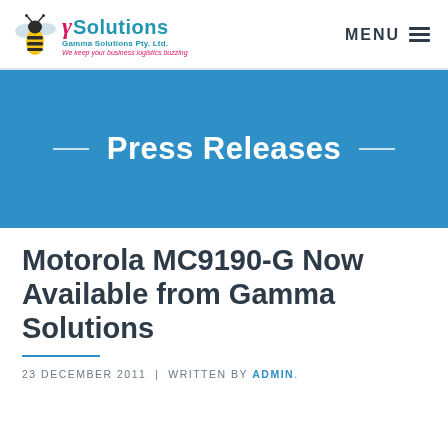Gamma Solutions Pty. Ltd. — We keep your business logistics buzzing | MENU
[Figure (logo): Gamma Solutions logo with bee illustration, gamma symbol, company name 'Solutions', 'Gamma Solutions Pty. Ltd.' and tagline 'We keep your business logistics buzzing']
Press Releases
Motorola MC9190-G Now Available from Gamma Solutions
23 DECEMBER 2011 | WRITTEN BY ADMIN.